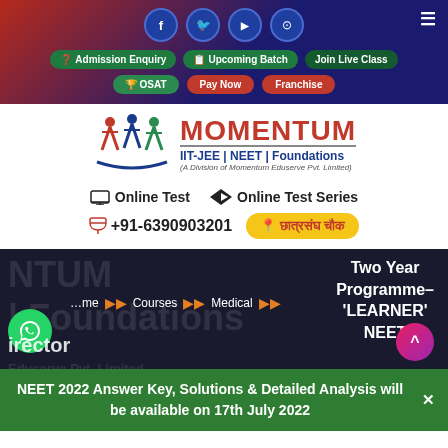Social icons: Facebook, Twitter, YouTube, Instagram | Hamburger menu
Admission Enquiry
Upcoming Batch
Join Live Class
OSAT
Pay Now
Franchise
[Figure (logo): Momentum IIT-JEE | NEET | Foundations logo with three figures and blue arc]
MOMENTUM
IIT-JEE | NEET | Foundations
(A Division of Momentum Eduserve Pvt. Limited)
Online Test   Online Test Series
+91-6390903201
छात्रसंघ चौक
Two Year Programme– 'LEARNER' NEET
Home  Courses  Medical
director
NEET 2022 Answer Key, Solutions & Detailed Analysis will be available on 17th July 2022